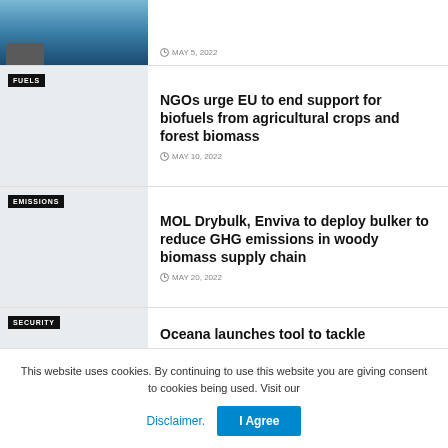[Figure (photo): Partial ocean/sea photo with rocky coastline visible at lower left, deep blue water]
MAY 5, 2022
[Figure (photo): Grey placeholder thumbnail with FUELS category badge]
NGOs urge EU to end support for biofuels from agricultural crops and forest biomass
MAY 10, 2022
[Figure (photo): Grey placeholder thumbnail with EMISSIONS category badge]
MOL Drybulk, Enviva to deploy bulker to reduce GHG emissions in woody biomass supply chain
MAY 20, 2022
[Figure (photo): Grey placeholder thumbnail with SECURITY category badge]
Oceana launches tool to tackle
This website uses cookies. By continuing to use this website you are giving consent to cookies being used. Visit our
Disclaimer.
I Agree